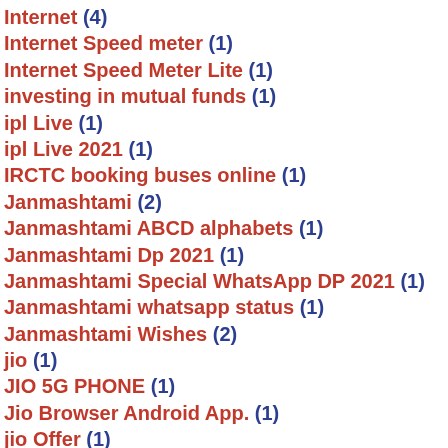Internet (4)
Internet Speed meter (1)
Internet Speed Meter Lite (1)
investing in mutual funds (1)
ipl Live (1)
ipl Live 2021 (1)
IRCTC booking buses online (1)
Janmashtami (2)
Janmashtami ABCD alphabets (1)
Janmashtami Dp 2021 (1)
Janmashtami Special WhatsApp DP 2021 (1)
Janmashtami whatsapp status (1)
Janmashtami Wishes (2)
jio (1)
JIO 5G PHONE (1)
Jio Browser Android App. (1)
jio Offer (1)
Jio Phone (1)
Jio Phone Next (1)